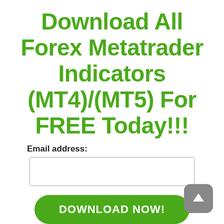Download All Forex Metatrader Indicators (MT4)/(MT5) For FREE Today!!!
Email address:
[Figure (other): Email address input text field, empty, with light border]
[Figure (other): Green rounded button labeled DOWNLOAD NOW!]
[Figure (other): Gray rounded square icon with upward arrow, bottom right corner]